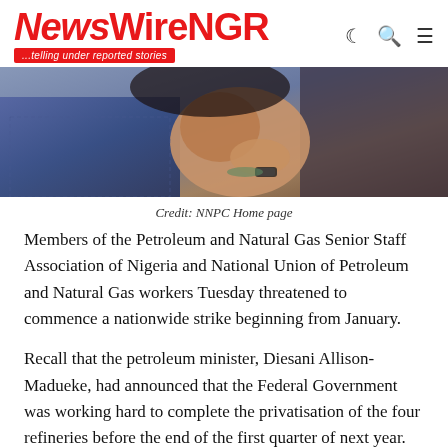NewsWireNGR ...telling under reported stories
[Figure (photo): A person with their hand on their face, wearing a patterned outfit and watch, appearing distressed. Partial view of what appears to be a news website header image.]
Credit: NNPC Home page
Members of the Petroleum and Natural Gas Senior Staff Association of Nigeria and National Union of Petroleum and Natural Gas workers Tuesday threatened to commence a nationwide strike beginning from January.
Recall that the petroleum minister, Diesani Allison-Madueke, had announced that the Federal Government was working hard to complete the privatisation of the four refineries before the end of the first quarter of next year.
The oil workers also stated that they are at the headquarters of the...